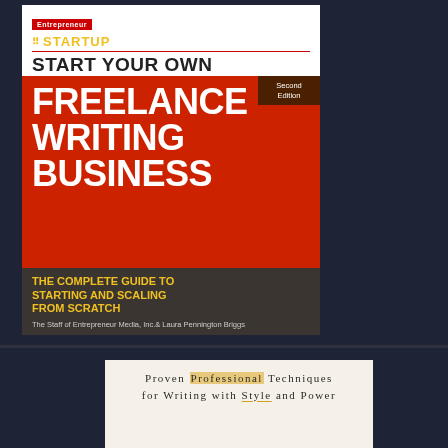[Figure (illustration): Book cover: Start Your Own Freelance Writing Business, Second Edition. Entrepreneur STARTUP series. Red cover with white bold text. Subtitle: The Complete Guide to Starting and Scaling from Scratch. Authors: The Staff of Entrepreneur Media, Inc. & Laura Pennington Briggs.]
[Figure (illustration): Partial book cover showing text: Proven Professional Techniques for Writing with Style and Power, on a cream/beige background.]